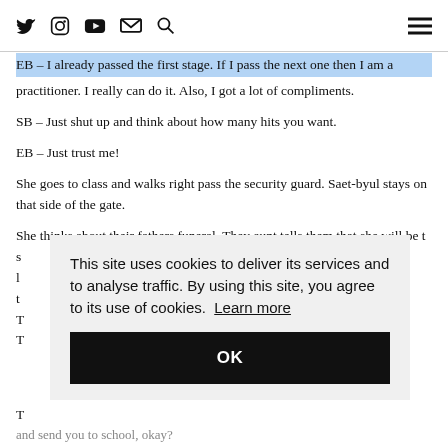talk through the imaginary wall. [icons: Twitter, Instagram, YouTube, Email, Search] [hamburger menu]
EB – I already passed the first stage. If I pass the next one then I am a practitioner. I really can do it. Also, I got a lot of compliments.
SB – Just shut up and think about how many hits you want.
EB – Just trust me!
She goes to class and walks right pass the security guard. Saet-byul stays on that side of the gate.
She thinks about their fathers funeral. They aunt tells them that she will be t
S ... son to l ... r went t ... much. T
T
T ... money and send you to school, okay?
[Figure (screenshot): Cookie consent overlay popup with text: 'This site uses cookies to deliver its services and to analyse traffic. By using this site, you agree to its use of cookies. Learn more' and a black OK button.]